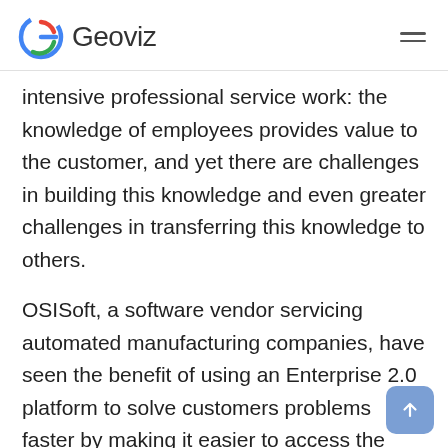Geoviz
intensive professional service work: the knowledge of employees provides value to the customer, and yet there are challenges in building this knowledge and even greater challenges in transferring this knowledge to others.
OSISoft, a software vendor servicing automated manufacturing companies, have seen the benefit of using an Enterprise 2.0 platform to solve customers problems faster by making it easier to access the knowledge being built within their support team. Their implementation of the socialtext application allowed engineers to build content through collating resolution information as well as through open discussions about open issues. When an engineer